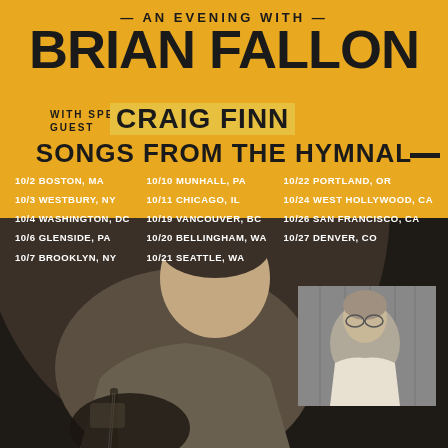AN EVENING WITH BRIAN FALLON WITH SPECIAL GUEST CRAIG FINN SONGS FROM THE HYMNAL
10/2 BOSTON, MA
10/3 WESTBURY, NY
10/4 WASHINGTON, DC
10/6 GLENSIDE, PA
10/7 BROOKLYN, NY
10/10 MUNHALL, PA
10/11 CHICAGO, IL
10/19 VANCOUVER, BC
10/20 BELLINGHAM, WA
10/21 SEATTLE, WA
10/22 PORTLAND, OR
10/24 WEST HOLLYWOOD, CA
10/26 SAN FRANCISCO, CA
10/27 DENVER, CO
[Figure (photo): Concert poster showing Brian Fallon playing guitar in black and white, with a smaller inset photo of Craig Finn]